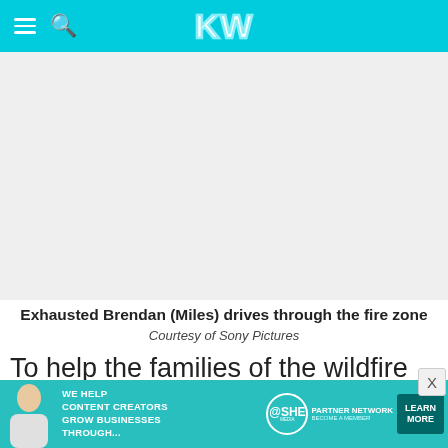KW
[Figure (photo): Blank/placeholder image area for a movie still of exhausted Brendan (Miles) driving through a fire zone]
Exhausted Brendan (Miles) drives through the fire zone
Courtesy of Sony Pictures
To help the families of the wildfire hotshots who lost their lives, the cast wants you to
[Figure (infographic): Bottom advertisement banner: SHE Media Partner Network — We help content creators grow businesses through... — Learn More button]